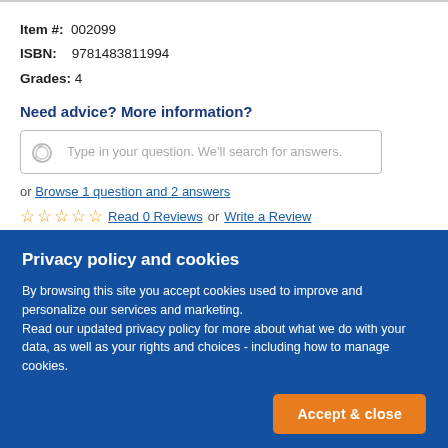Item #: 002099
ISBN: 9781483811994
Grades: 4
Need advice? More information?
Type in your question. We'll search for answers.
or Browse 1 question and 2 answers
Read 0 Reviews or Write a Review
Privacy policy and cookies
By browsing this site you accept cookies used to improve and personalize our services and marketing. Read our updated privacy policy for more about what we do with your data, as well as your rights and choices - including how to manage cookies.
Accept & close